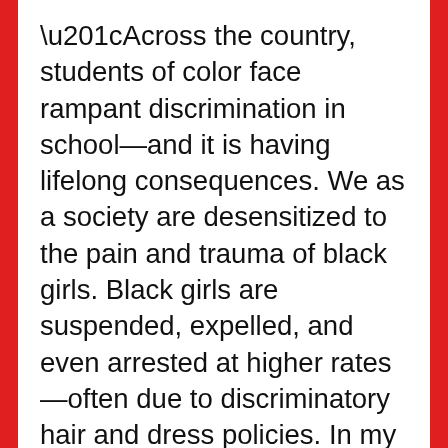“Across the country, students of color face rampant discrimination in school—and it is having lifelong consequences. We as a society are desensitized to the pain and trauma of black girls. Black girls are suspended, expelled, and even arrested at higher rates—often due to discriminatory hair and dress policies. In my hometown of Minneapolis, black students are 41% of the student population, but make up three quarters of all suspensions. At one middle school in my district, African American students were 338% more likely to be